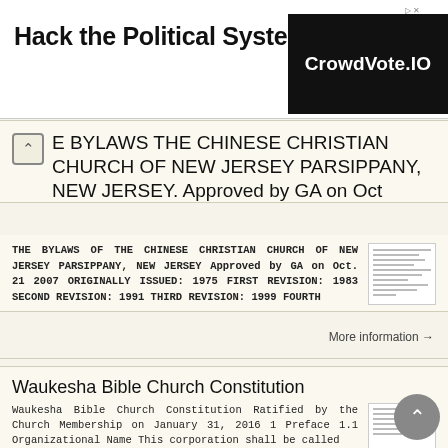[Figure (screenshot): Advertisement banner: 'Hack the Political System.' with CrowdVote.IO logo on black background]
E BYLAWS THE CHINESE CHRISTIAN CHURCH OF NEW JERSEY PARSIPPANY, NEW JERSEY. Approved by GA on Oct
THE BYLAWS OF THE CHINESE CHRISTIAN CHURCH OF NEW JERSEY PARSIPPANY, NEW JERSEY Approved by GA on Oct. 21 2007 ORIGINALLY ISSUED: 1975 FIRST REVISION: 1983 SECOND REVISION: 1991 THIRD REVISION: 1999 FOURTH
More information →
Waukesha Bible Church Constitution
Waukesha Bible Church Constitution Ratified by the Church Membership on January 31, 2016 1 Preface 1.1 Organizational Name This corporation shall be called